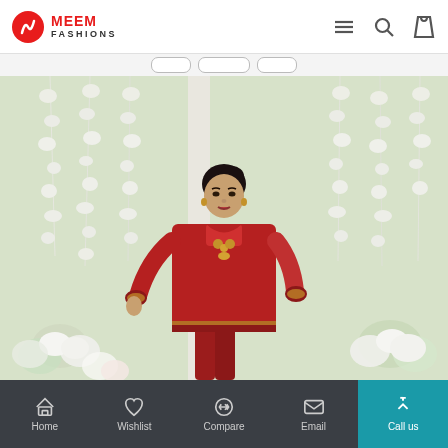MEEM FASHIONS
[Figure (photo): A woman wearing a red Pakistani salwar kameez outfit standing in front of a background decorated with white hanging flowers and floral arrangements]
Home | Wishlist | Compare | Email | Call us